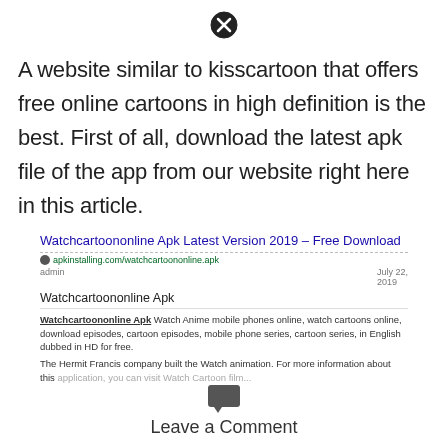[Figure (other): Close/cancel button icon — a circle with an X inside]
A website similar to kisscartoon that offers free online cartoons in high definition is the best. First of all, download the latest apk file of the app from our website right here in this article.
[Figure (screenshot): Search result snippet for 'Watchcartoononline Apk Latest Version 2019 – Free Download' from apkinstalling.com/watchcartoononline-apk. Author: admin, Date: July 22, 2019. Body snippet: Watchcartoononline Apk — Watch Anime mobile phones online, watch cartoons online, download episodes, cartoon episodes, mobile phone series, cartoon series, in English dubbed in HD for free. The Hermit Francis company built the Watch animation. For more information about this application...]
Leave a Comment